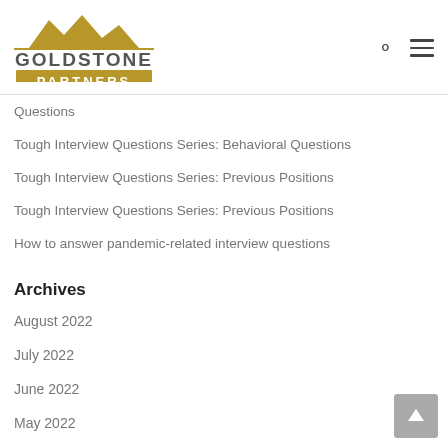[Figure (logo): Goldstone Partners logo with mountain silhouette in gold above text GOLDSTONE PARTNERS on gold background]
Questions
Tough Interview Questions Series: Behavioral Questions
Tough Interview Questions Series: Previous Positions
Tough Interview Questions Series: Previous Positions
How to answer pandemic-related interview questions
Archives
August 2022
July 2022
June 2022
May 2022